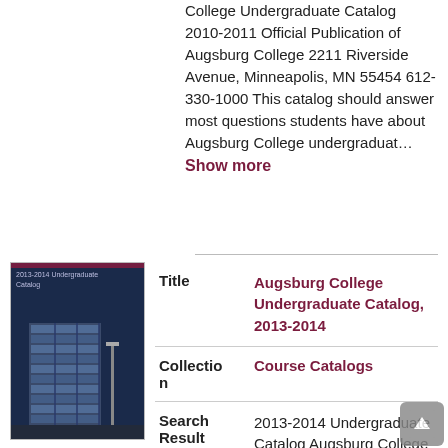College Undergraduate Catalog 2010-2011 Official Publication of Augsburg College 2211 Riverside Avenue, Minneapolis, MN 55454 612-330-1000 This catalog should answer most questions students have about Augsburg College undergraduat…
Show more
| Field | Value |
| --- | --- |
| Title | Augsburg College Undergraduate Catalog, 2013-2014 |
| Collection | Course Catalogs |
| Search Result | 2013-2014 Undergraduate Catalog Augsburg College Undergraduate Catalog 2013-2014 Official Publication of Augsburg College 2211 Riverside Avenue, Minneapolis, MN 55454 The Augsburg College Undergraduate Catalog contains |